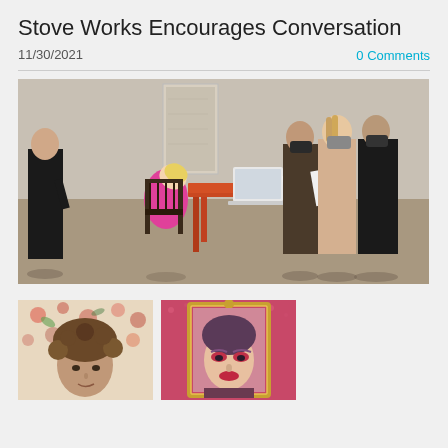Stove Works Encourages Conversation
11/30/2021
0 Comments
[Figure (photo): People gathered around an orange/red table in a gallery space. A person in a pink top is seated and leaning over the table with a laptop open. Three people wearing masks stand on the right side looking at papers. Another person in black stands on the far left. Artwork hangs on the wall in the background.]
[Figure (photo): Small thumbnail photo showing a person with curly hair in front of a floral background.]
[Figure (photo): Small thumbnail photo showing a framed portrait of a person with dramatic makeup against a pink/red background.]